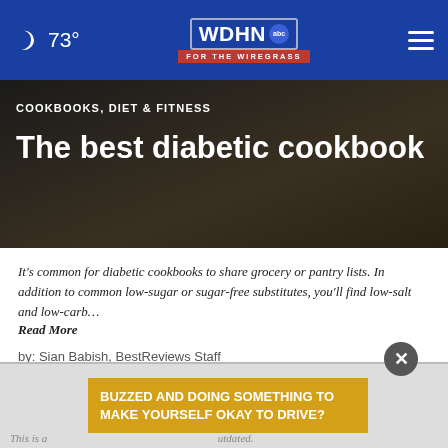🌙 73° | WDHN abc FOR THE WIREGRASS
COOKBOOKS, DIET & FITNESS
The best diabetic cookbook
It's common for diabetic cookbooks to share grocery or pantry lists. In addition to common low-sugar or sugar-free substitutes, you'll find low-salt and low-carb…
Read More
by: Sian Babish, BestReviews Staff
Posted: Apr 19, 2021 / 12:22 PM CDT
Updated: Apr 19, 2021 / 12:22 PM CDT
SHARE
BUZZED AND DOING SOMETHING TO MAKE YOURSELF OKAY TO DRIVE?
This is a ... utdated.